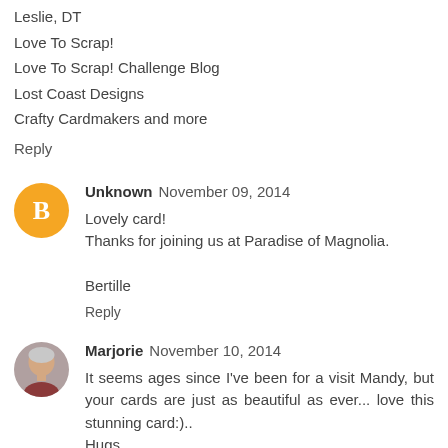Leslie, DT
Love To Scrap!
Love To Scrap! Challenge Blog
Lost Coast Designs
Crafty Cardmakers and more
Reply
Unknown  November 09, 2014
Lovely card!
Thanks for joining us at Paradise of Magnolia.

Bertille
Reply
Marjorie  November 10, 2014
It seems ages since I've been for a visit Mandy, but your cards are just as beautiful as ever... love this stunning card:)..
Hugs,